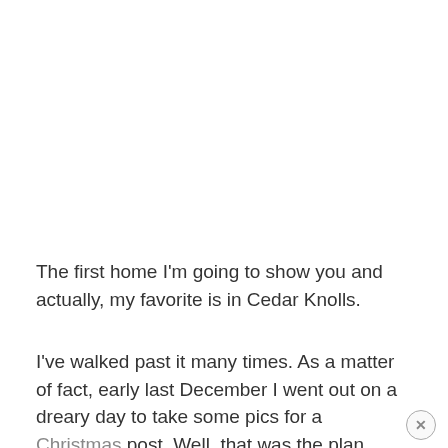The first home I'm going to show you and actually, my favorite is in Cedar Knolls.
I've walked past it many times. As a matter of fact, early last December I went out on a dreary day to take some pics for a Christmas post. Well, that was the plan.
In fact, the first house I took photos of last December is the one I'm about to show you.